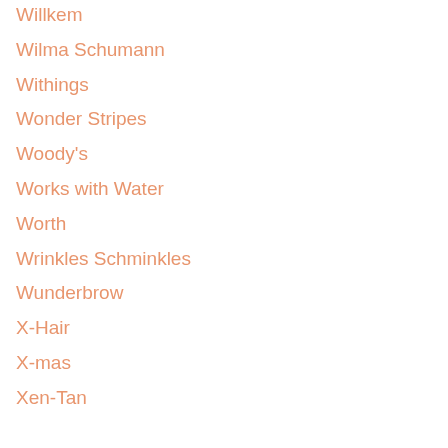Willkem
Wilma Schumann
Withings
Wonder Stripes
Woody's
Works with Water
Worth
Wrinkles Schminkles
Wunderbrow
X-Hair
X-mas
Xen-Tan